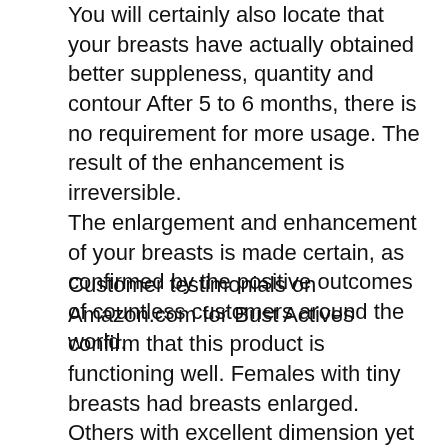You will certainly also locate that your breasts have actually obtained better suppleness, quantity and contour After 5 to 6 months, there is no requirement for more usage. The result of the enhancement is irreversible. The enlargement and enhancement of your breasts is made certain, as confirmed by the positive outcomes of countless customers around the world.
Customer testimonials on Amazon.com for Bust Actives confirm that this product is functioning well. Females with tiny breasts had breasts enlarged. Others with excellent dimension yet absence of firmness and form have actually seen an enhancement fit, volume as well as volume.